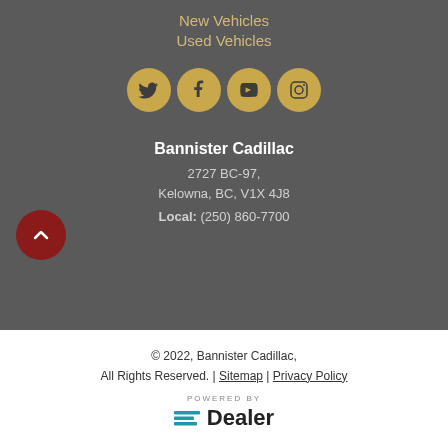New Vehicles
Used Vehicles
[Figure (illustration): Four social media icons in gold circles: Twitter, Facebook, YouTube, Instagram]
Bannister Cadillac
2727 BC-97,
Kelowna, BC, V1X 4J8
Local: (250) 860-7700
[Figure (illustration): Red circular back-to-top button with upward chevron arrow]
© 2022, Bannister Cadillac, All Rights Reserved. | Sitemap | Privacy Policy
[Figure (logo): POWERED BY eDealer logo]